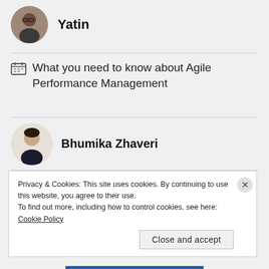[Figure (photo): Circular avatar photo of Yatin, a man with glasses]
Yatin
What you need to know about Agile Performance Management
[Figure (photo): Circular avatar photo of Bhumika Zhaveri, a woman]
Bhumika Zhaveri
Future of Work Trends, Part 5: Tech in HR, Human vs. Machine
Privacy & Cookies: This site uses cookies. By continuing to use this website, you agree to their use.
To find out more, including how to control cookies, see here: Cookie Policy
Close and accept